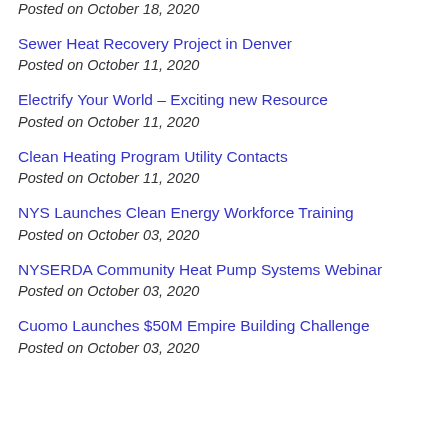Posted on October 18, 2020
Sewer Heat Recovery Project in Denver
Posted on October 11, 2020
Electrify Your World – Exciting new Resource
Posted on October 11, 2020
Clean Heating Program Utility Contacts
Posted on October 11, 2020
NYS Launches Clean Energy Workforce Training
Posted on October 03, 2020
NYSERDA Community Heat Pump Systems Webinar
Posted on October 03, 2020
Cuomo Launches $50M Empire Building Challenge
Posted on October 03, 2020